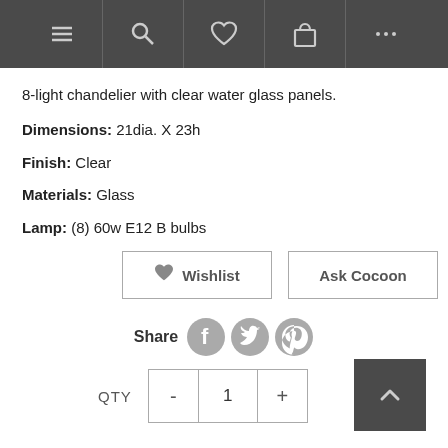[Figure (screenshot): Dark grey navigation bar with icons: hamburger menu, search (magnifying glass), heart/wishlist, shopping bag, and ellipsis (more options)]
8-light chandelier with clear water glass panels.
Dimensions: 21dia. X 23h
Finish: Clear
Materials: Glass
Lamp: (8) 60w E12 B bulbs
Wishlist | Ask Cocoon (buttons)
Share (with Facebook, Twitter, Pinterest icons)
QTY - 1 + (quantity selector)